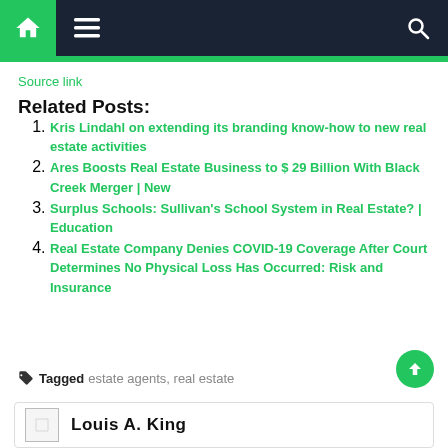Navigation bar with home, menu, and search icons
Source link
Related Posts:
Kris Lindahl on extending its branding know-how to new real estate activities
Ares Boosts Real Estate Business to $ 29 Billion With Black Creek Merger | New
Surplus Schools: Sullivan's School System in Real Estate? | Education
Real Estate Company Denies COVID-19 Coverage After Court Determines No Physical Loss Has Occurred: Risk and Insurance
Tagged estate agents, real estate
Louis A. King